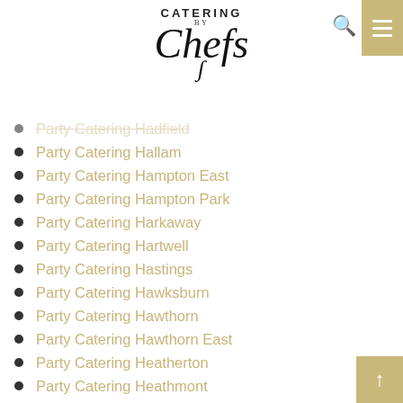[Figure (logo): Catering By Chefs logo with stylized script text]
Party Catering Hadfield
Party Catering Hallam
Party Catering Hampton East
Party Catering Hampton Park
Party Catering Harkaway
Party Catering Hartwell
Party Catering Hastings
Party Catering Hawksburn
Party Catering Hawthorn
Party Catering Hawthorn East
Party Catering Heatherton
Party Catering Heathmont
Party Catering Heidelberg
Party Catering Heidelberg Heights
Party Catering Heidelberg West